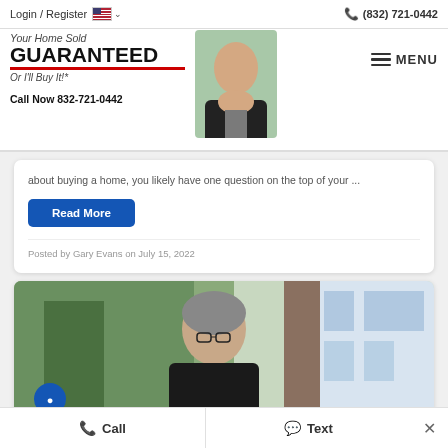Login / Register  🇺🇸 ∨    ☎ (832) 721-0442
[Figure (logo): Your Home Sold GUARANTEED Or I'll Buy It!* real estate agency logo with agent photo and Call Now 832-721-0442]
about buying a home, you likely have one question on the top of your ...
Read More
Posted by Gary Evans on July 15, 2022
[Figure (photo): Photo of a man with gray hair and glasses, sitting in front of a window with an urban building in the background]
📞 Call    💬 Text    ×